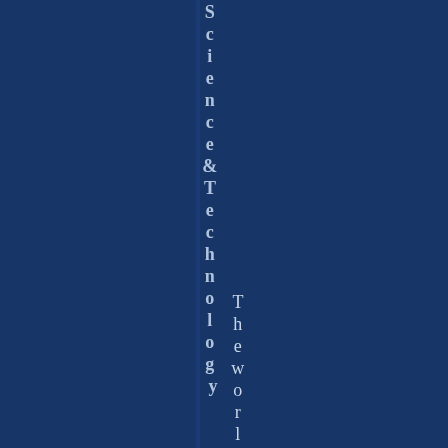Science & Technology The world of g...
[Figure (other): Book spine or cover page with dark navy blue background showing vertical text reading 'Science & Technology' and 'The world of g...' in light blue/white serif font, rotated 90 degrees]